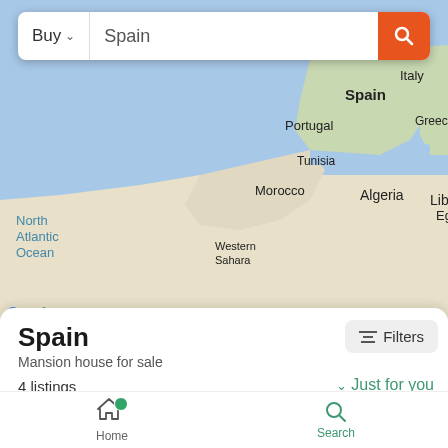[Figure (map): Google Maps view showing Western Mediterranean region. Visible countries: Spain, Portugal, Italy, Greece, Tunisia, Morocco, Algeria, Libya, Egypt (partially), Western Sahara. North Atlantic Ocean labeled on the left.]
Buy ∨
Spain
Spain
Mansion house for sale
≡ Filters
4 listings
∨ Just for you
Richard Guppy
GLOBAL AGENT
Home   Search